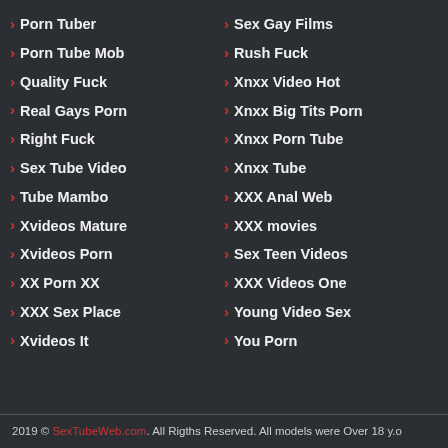> Porn Tuber
> Porn Tube Mob
> Quality Fuck
> Real Gays Porn
> Right Fuck
> Sex Tube Video
> Tube Mambo
> Xvideos Mature
> Xvideos Porn
> XX Porn XX
> XXX Sex Place
> Xvideos It
> Sex Gay Films
> Rush Fuck
> Xnxx Video Hot
> Xnxx Big Tits Porn
> Xnxx Porn Tube
> Xnxx Tube
> XXX Anal Web
> XXX movies
> Sex Teen Videos
> XXX Videos One
> Young Video Sex
> You Porn
2019 © SexTubeWeb.com. All Rigths Reserved. All models were Over 18 y.o